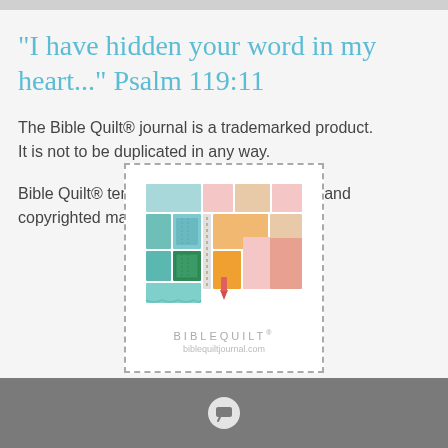"I have hidden your word in my heart..." Psalm 119:11
The Bible Quilt® journal is a trademarked product.
It is not to be duplicated in any way.
Bible Quilt® templates are original designs and copyrighted material.
[Figure (logo): Bible Quilt logo showing a colorful quilt pattern made of squares in teal, green, pink, peach, and orange colors with a spiral binding in the center. Below the quilt graphic the text BIBLEQUILT® and biblequiltjournal.com, surrounded by a dashed border rectangle.]
Chat icon footer bar